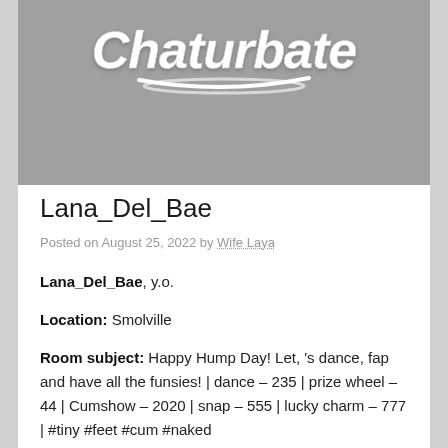[Figure (logo): Chaturbate logo on grey background]
Lana_Del_Bae
Posted on August 25, 2022 by Wife Laya
Lana_Del_Bae, y.o.
Location: Smolville
Room subject: Happy Hump Day! Let, 's dance, fap and have all the funsies! | dance – 235 | prize wheel – 44 | Cumshow – 2020 | snap – 555 | lucky charm – 777 | #tiny #feet #cum #naked